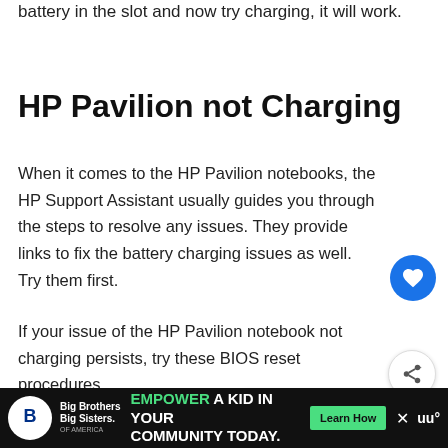battery in the slot and now try charging, it will work.
HP Pavilion not Charging
When it comes to the HP Pavilion notebooks, the HP Support Assistant usually guides you through the steps to resolve any issues. They provide links to fix the battery charging issues as well. Try them first.
If your issue of the HP Pavilion notebook not charging persists, try these BIOS reset procedures
If the HP Pavilion laptop is currently switched on, power it on.
[Figure (screenshot): What's Next promo card showing a laptop image and text 'Why is My Laptop...']
[Figure (infographic): Advertisement bar: Big Brothers Big Sisters logo, 'EMPOWER A KID IN YOUR COMMUNITY TODAY.' with Learn How button]